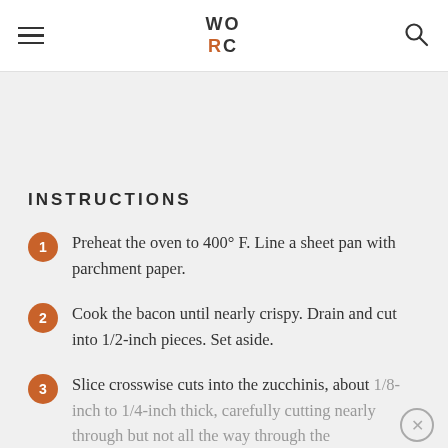WO RC
INSTRUCTIONS
Preheat the oven to 400° F. Line a sheet pan with parchment paper.
Cook the bacon until nearly crispy. Drain and cut into 1/2-inch pieces. Set aside.
Slice crosswise cuts into the zucchinis, about 1/8-inch to 1/4-inch thick, carefully cutting nearly through but not all the way through the